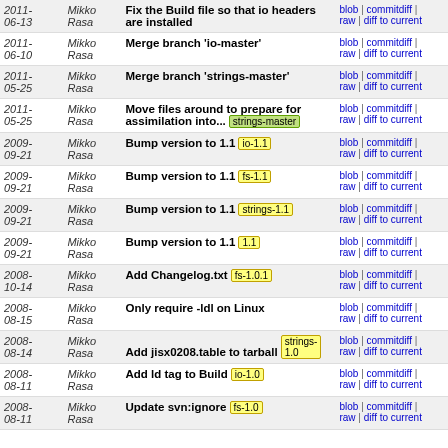| Date | Author | Message | Links |
| --- | --- | --- | --- |
| 2011-06-13 | Mikko Rasa | Fix the Build file so that io headers are installed | blob | commitdiff | raw | diff to current |
| 2011-06-10 | Mikko Rasa | Merge branch 'io-master' | blob | commitdiff | raw | diff to current |
| 2011-05-25 | Mikko Rasa | Merge branch 'strings-master' | blob | commitdiff | raw | diff to current |
| 2011-05-25 | Mikko Rasa | Move files around to prepare for assimilation into... [strings-master] | blob | commitdiff | raw | diff to current |
| 2009-09-21 | Mikko Rasa | Bump version to 1.1 [io-1.1] | blob | commitdiff | raw | diff to current |
| 2009-09-21 | Mikko Rasa | Bump version to 1.1 [fs-1.1] | blob | commitdiff | raw | diff to current |
| 2009-09-21 | Mikko Rasa | Bump version to 1.1 [strings-1.1] | blob | commitdiff | raw | diff to current |
| 2009-09-21 | Mikko Rasa | Bump version to 1.1 [1.1] | blob | commitdiff | raw | diff to current |
| 2008-10-14 | Mikko Rasa | Add Changelog.txt [fs-1.0.1] | blob | commitdiff | raw | diff to current |
| 2008-08-15 | Mikko Rasa | Only require -ldl on Linux | blob | commitdiff | raw | diff to current |
| 2008-08-14 | Mikko Rasa | Add jisx0208.table to tarball [strings-1.0] | blob | commitdiff | raw | diff to current |
| 2008-08-11 | Mikko Rasa | Add ld tag to Build [io-1.0] | blob | commitdiff | raw | diff to current |
| 2008-08-11 | Mikko Rasa | Update svn:ignore [fs-1.0] | blob | commitdiff | raw | diff to current |